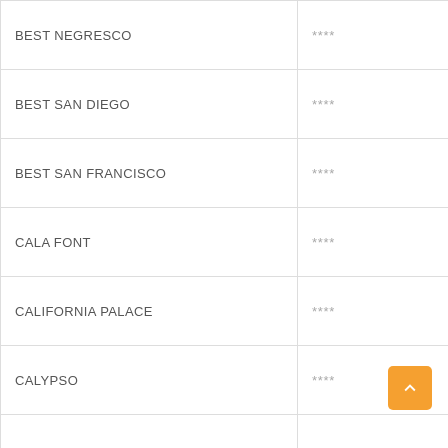| Hotel Name | Stars |
| --- | --- |
| BEST NEGRESCO | **** |
| BEST SAN DIEGO | **** |
| BEST SAN FRANCISCO | **** |
| CALA FONT | **** |
| CALIFORNIA PALACE | **** |
| CALYPSO | **** |
| DORADA PALACE | **** |
| GOLDEN PORT SALOU | **** |
| H10 DELFIN | **** |
| H10 MEDITERRANEAN VILLAGE | **** |
| H10 SALAURIS PALACE | **** |
| H10 SALOU PRINCESS | **** |